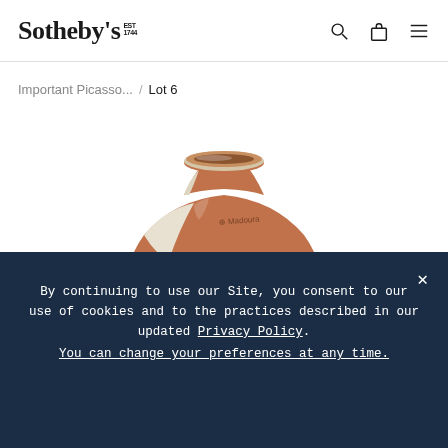Sotheby's EST 1744
Important Picasso... / Lot 6
[Figure (photo): Top portion of a ceramic pottery vase/jug with terracotta and cream glaze, showing the neck and rim with a maker's mark stamp visible on the shoulder.]
By continuing to use our Site, you consent to our use of cookies and to the practices described in our updated Privacy Policy. You can change your preferences at any time.